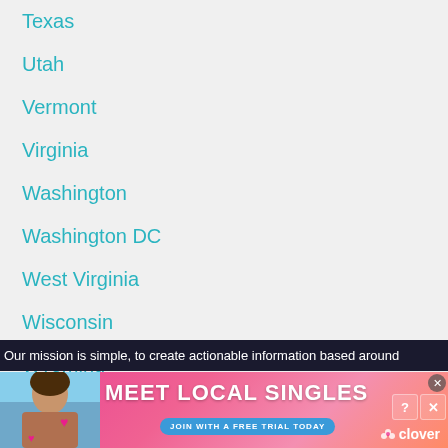Texas
Utah
Vermont
Virginia
Washington
Washington DC
West Virginia
Wisconsin
Wyoming
Our mission is simple, to create actionable information based around
[Figure (photo): Advertisement banner for Clover dating app: 'MEET LOCAL SINGLES - JOIN WITH A FREE TRIAL TODAY' with photo of a woman and Clover logo]